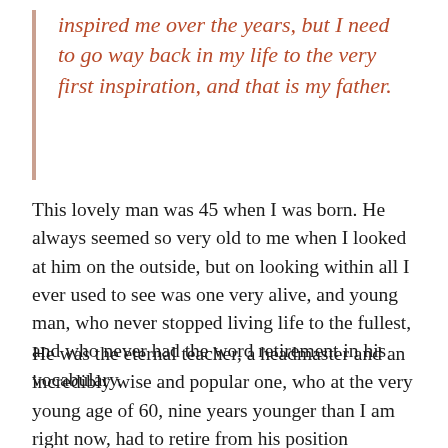inspired me over the years, but I need to go way back in my life to the very first inspiration, and that is my father.
This lovely man was 45 when I was born. He always seemed so very old to me when I looked at him on the outside, but on looking within all I ever used to see was one very alive, and young man, who never stopped living life to the fullest, and who never had the word retirement in his vocabulary.
He was the eternal teacher, a headmaster and an incredibly wise and popular one, who at the very young age of 60, nine years younger than I am right now, had to retire from his position